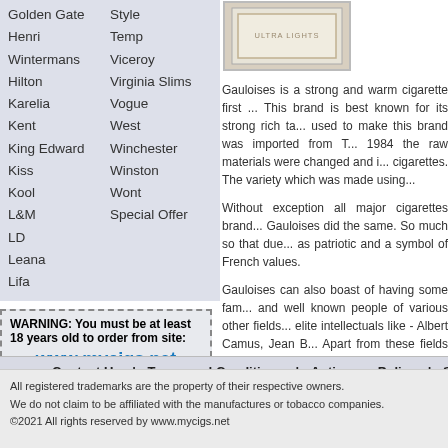Golden Gate   Style
Henri Wintermans   Temp
Hilton   Viceroy
Karelia   Virginia Slims
Kent   Vogue
King Edward   West
Kiss   Winchester
Kool   Winston
L&M   Wont
LD   Special Offer
Leana
Lifa
[Figure (illustration): Cigarette pack box with 'ULTRA LIGHTS' label, light gray/beige colored pack with border]
Gauloises is a strong and warm cigarette first ... This brand is best known for its strong rich ta... used to make this brand was imported from T... 1984 the raw materials were changed and i... cigarettes. The variety which was made using...
Without exception all major cigarettes brand... Gauloises did the same. So much so that due... as patriotic and a symbol of French values.
Gauloises can also boast of having some fam... and well known people of various other fields... elite intellectuals like - Albert Camus, Jean B... Apart from these fields and people, George ... Paris and London; Henri Charrière, French au... in his autobiography Papillon. You would also ... in stories written by Julio Cortázar and ma... Gauloises; in John le Carré's book Smiley's B... Detective Sergeant Mort Cooperman smok... Friedman. Smoking Gauloises is also mention... popularity of this brand.
WARNING: You must be at least 18 years old to order from site: www.mycigs.net
Cigarettes Sites:
Cigarettes
Cigarettes Online
Contact Us  |  Terms and Conditions  |  Anti-spam Policy  |  Site
All registered trademarks are the property of their respective owners.
We do not claim to be affiliated with the manufactures or tobacco companies.
©2021 All rights reserved by www.mycigs.net